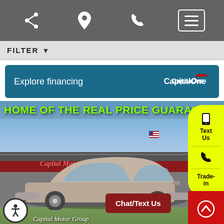Navigation bar with share, location, phone, and menu icons
FILTER
[Figure (infographic): Capital One Explore financing banner with teal background]
[Figure (photo): Capital Motor Group dealership exterior photo with silver Infiniti EX35 SUV in foreground. Green text reads HOME OF THE REAL PRICE GUARANTEE across the top. Yellow pill-shaped side widget with Text Us, phone, and Trade-in buttons. Chat/Text Us button overlay. Accessibility icon bottom left. Red scroll-up button bottom right.]